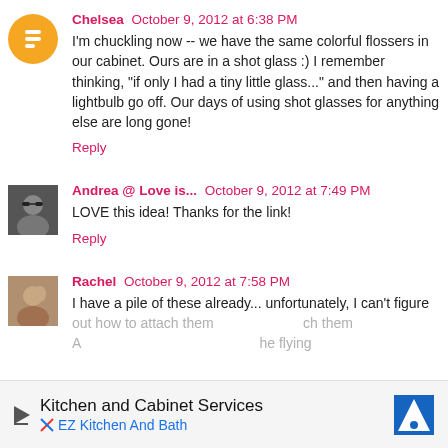Chelsea October 9, 2012 at 6:38 PM
I'm chuckling now -- we have the same colorful flossers in our cabinet. Ours are in a shot glass :) I remember thinking, "if only I had a tiny little glass..." and then having a lightbulb go off. Our days of using shot glasses for anything else are long gone!
Reply
Andrea @ Love is... October 9, 2012 at 7:49 PM
LOVE this idea! Thanks for the link!
Reply
Rachel October 9, 2012 at 7:58 PM
I have a pile of these already... unfortunately, I can't figure out how to attach them...the flying
[Figure (infographic): Advertisement bar at the bottom: Kitchen and Cabinet Services, EZ Kitchen And Bath, with a navigation/map pin icon on the right.]